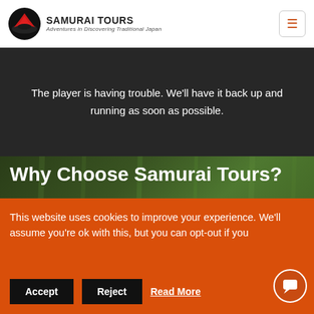[Figure (logo): Samurai Tours circular logo with red and black mountain/wave design]
SAMURAI TOURS
Adventures in Discovering Traditional Japan
[Figure (other): Hamburger menu button icon in orange/red color]
The player is having trouble. We'll have it back up and running as soon as possible.
Why Choose Samurai Tours?
Our small group tours are well-balanced, educational, culturally-broadening, and most importantly, fun tours that inspire and inform. By breaking down as many
This website uses cookies to improve your experience. We'll assume you're ok with this, but you can opt-out if you
Accept
Reject
Read More